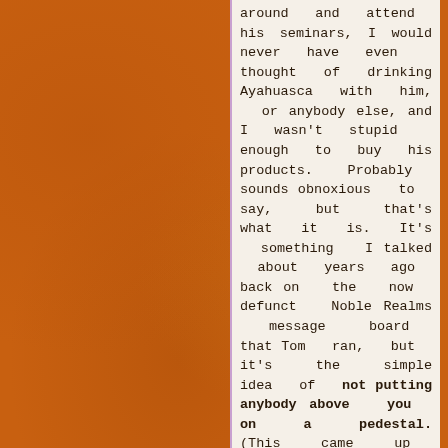around and attend his seminars, I would never have even thought of drinking Ayahuasca with him, or anybody else, and I wasn't stupid enough to buy his products. Probably sounds obnoxious to say, but that's what it is. It's something I talked about years ago back on the now defunct Noble Realms message board that Tom ran, but it's the simple idea of not putting anybody above you on a pedestal. (This came up with regards to David Icke, when an NR member expressed his growing disenchantment and